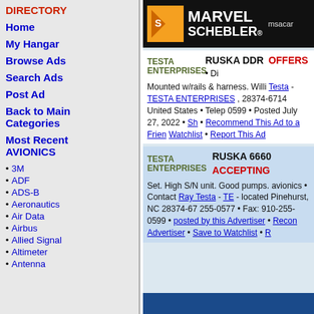DIRECTORY
Home
My Hangar
Browse Ads
Search Ads
Post Ad
Back to Main Categories
Most Recent AVIONICS
3M
ADF
ADS-B
Aeronautics
Air Data
Airbus
Allied Signal
Altimeter
Antenna
[Figure (logo): Marvel Schebler logo banner with msacar.com text]
TESTA ENTERPRISES RUSKA DDR OFFERS • Di Mounted w/rails & harness. Willi Testa - TESTA ENTERPRISES , 28374-6714 United States • Telep 0599 • Posted July 27, 2022 • Sh • Recommend This Ad to a Frien Watchlist • Report This Ad
TESTA ENTERPRISES RUSKA 6660 ACCEPTING Set. High S/N unit. Good pumps. avionics • Contact Ray Testa - TE - located Pinehurst, NC 28374-67 255-0577 • Fax: 910-255-0599 • posted by this Advertiser • Recon Advertiser • Save to Watchlist • R